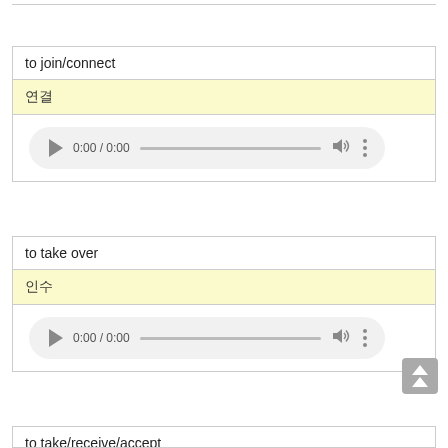to join/connect
연결
[Figure (other): Audio player showing 0:00 / 0:00 with play button, progress bar, volume icon, and more options icon]
to take over
인수
[Figure (other): Audio player showing 0:00 / 0:00 with play button, progress bar, volume icon, and more options icon]
to take/receive/accept